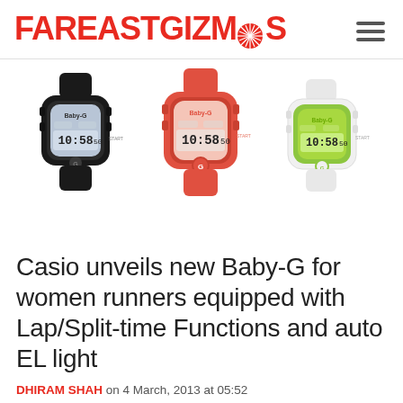FAREASTGIZMOS
[Figure (photo): Three Casio Baby-G watches side by side: black, coral/red, and white with green accents, all showing 10:58 on their digital displays]
Casio unveils new Baby-G for women runners equipped with Lap/Split-time Functions and auto EL light
DHIRAM SHAH on 4 March, 2013 at 05:52